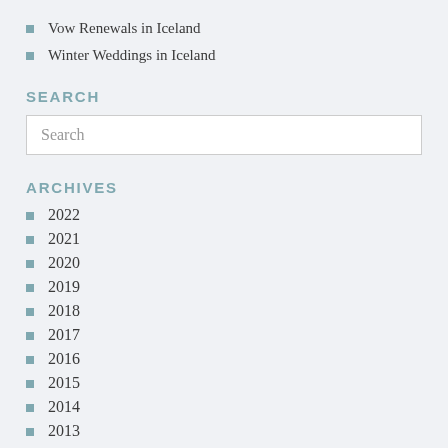Vow Renewals in Iceland
Winter Weddings in Iceland
SEARCH
Search
ARCHIVES
2022
2021
2020
2019
2018
2017
2016
2015
2014
2013
2012